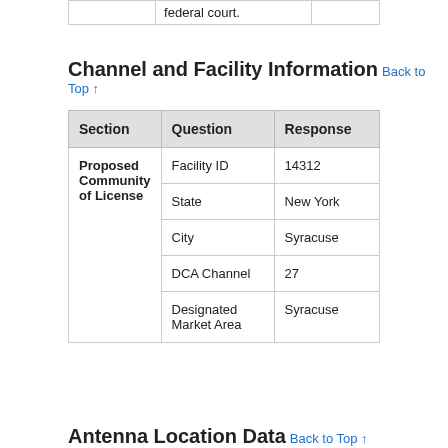| federal court. |
Channel and Facility Information
| Section | Question | Response |
| --- | --- | --- |
| Proposed Community of License | Facility ID | 14312 |
|  | State | New York |
|  | City | Syracuse |
|  | DCA Channel | 27 |
|  | Designated Market Area | Syracuse |
Antenna Location Data